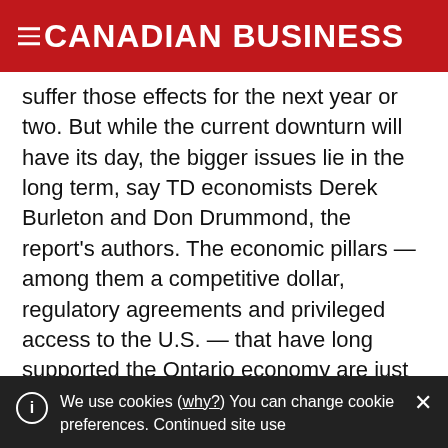CANADIAN BUSINESS
suffer those effects for the next year or two. But while the current downturn will have its day, the bigger issues lie in the long term, say TD economists Derek Burleton and Don Drummond, the report's authors. The economic pillars — among them a competitive dollar, regulatory agreements and privileged access to the U.S. — that have long supported the Ontario economy are just now giving way, and may never come back. And this is going to create problems in the long term. If the government doesn't begin to lay out a plan for the long-term health of the Ontario economy, say Burleton
We use cookies (why?) You can change cookie preferences. Continued site use